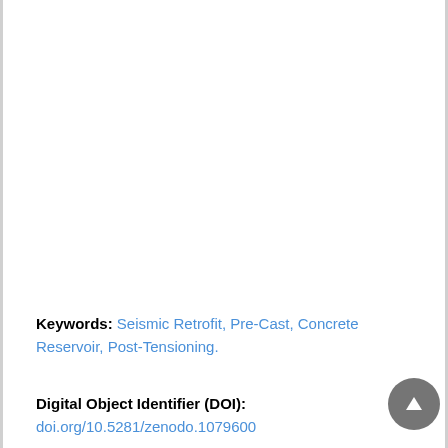Keywords: Seismic Retrofit, Pre-Cast, Concrete Reservoir, Post-Tensioning.
Digital Object Identifier (DOI): doi.org/10.5281/zenodo.1079600